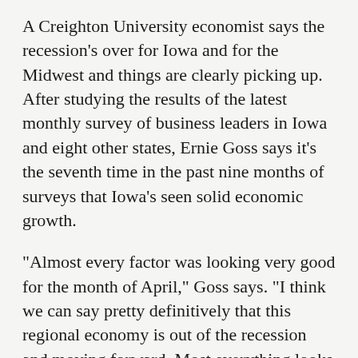A Creighton University economist says the recession's over for Iowa and for the Midwest and things are clearly picking up. After studying the results of the latest monthly survey of business leaders in Iowa and eight other states, Ernie Goss says it's the seventh time in the past nine months of surveys that Iowa's seen solid economic growth.
“Almost every factor was looking very good for the month of April,” Goss says. “I think we can say pretty definitively that this regional economy is out of the recession and moving forward. Most everything looks good. There were a few negatives underneath the surface, but all in all, it was a very good report.” Goss says one of those negative factors was the “prices paid” index, which he says is rising far too rapidly.